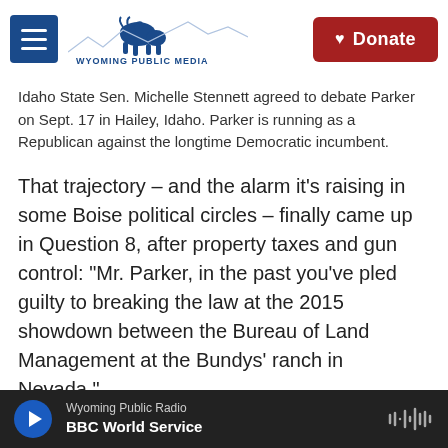Wyoming Public Media — Donate
Idaho State Sen. Michelle Stennett agreed to debate Parker on Sept. 17 in Hailey, Idaho. Parker is running as a Republican against the longtime Democratic incumbent.
That trajectory – and the alarm it's raising in some Boise political circles – finally came up in Question 8, after property taxes and gun control: "Mr. Parker, in the past you've pled guilty to breaking the law at the 2015 showdown between the Bureau of Land Management at the Bundys' ranch in Nevada."
If elected, the moderator continued, would Parker uphold his oath to follow all laws, even if he disagreed with them?
Wyoming Public Radio — BBC World Service